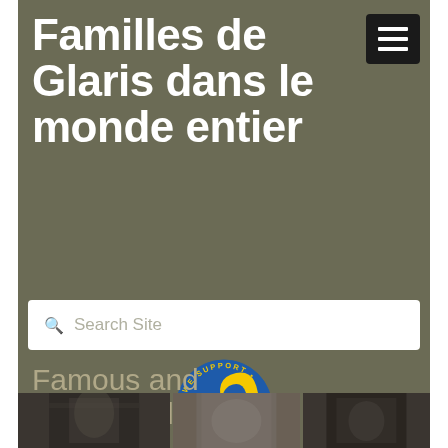Familles de Glaris dans le monde entier
[Figure (screenshot): Hamburger menu icon button (three white horizontal bars on black background)]
[Figure (other): Search Site input box with magnifying glass icon]
[Figure (logo): We Support Ukraine circular badge - blue circle with yellow bird/dove motif and text 'WE SUPPORT UKRAINE' around the border]
Famous and Notable Glarner
[Figure (photo): Black and white photo strip showing historical photographs at the bottom of the page]